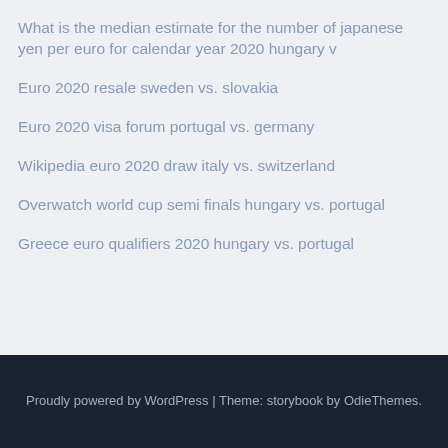What is the median estimate for the number of japanese yen per euro for calendar year 2020 hungary v
Euro 2020 resale sweden vs. slovakia
Euro 2020 visa forum portugal vs. germany
Wikipedia euro 2020 draw italy vs. switzerland
Overwatch world cup semi finals hungary vs. portugal
Greece euro qualifiers 2020 hungary vs. portugal
Proudly powered by WordPress | Theme: storybook by OdieThemes.